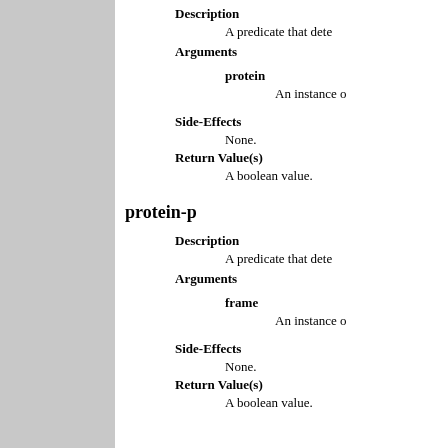Description
A predicate that dete
Arguments
protein
An instance o
Side-Effects
None.
Return Value(s)
A boolean value.
protein-p
Description
A predicate that dete
Arguments
frame
An instance o
Side-Effects
None.
Return Value(s)
A boolean value.